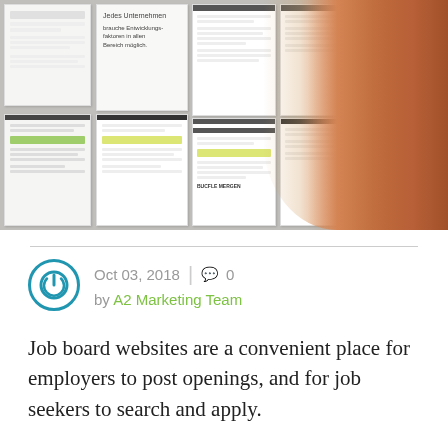[Figure (photo): A person with reddish-brown hair viewed from behind, looking at a bulletin board covered with various printed documents and papers.]
Oct 03, 2018  |  💬 0
by A2 Marketing Team
Job board websites are a convenient place for employers to post openings, and for job seekers to search and apply.